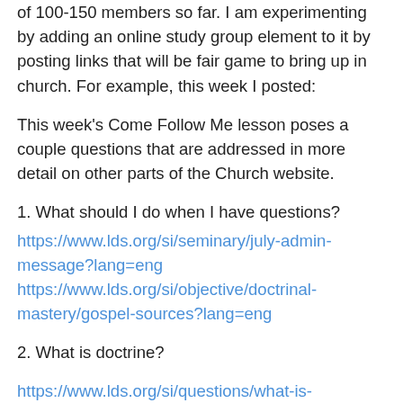of 100-150 members so far. I am experimenting by adding an online study group element to it by posting links that will be fair game to bring up in church. For example, this week I posted:
This week's Come Follow Me lesson poses a couple questions that are addressed in more detail on other parts of the Church website.
1. What should I do when I have questions?
https://www.lds.org/si/seminary/july-admin-message?lang=eng https://www.lds.org/si/objective/doctrinal-mastery/gospel-sources?lang=eng
2. What is doctrine?
https://www.lds.org/si/questions/what-is-